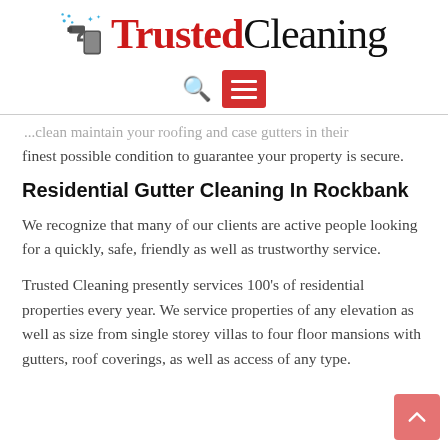[Figure (logo): Trusted Cleaning logo with spray bottle icon, 'Trusted' in red serif font and 'Cleaning' in black serif font]
[Figure (screenshot): Navigation bar with search icon and red hamburger menu button]
...clean maintain your roofing and case gutters in their finest possible condition to guarantee your property is secure.
Residential Gutter Cleaning In Rockbank
We recognize that many of our clients are active people looking for a quickly, safe, friendly as well as trustworthy service.
Trusted Cleaning presently services 100's of residential properties every year. We service properties of any elevation as well as size from single storey villas to four floor mansions with gutters, roof coverings, as well as access of any type.